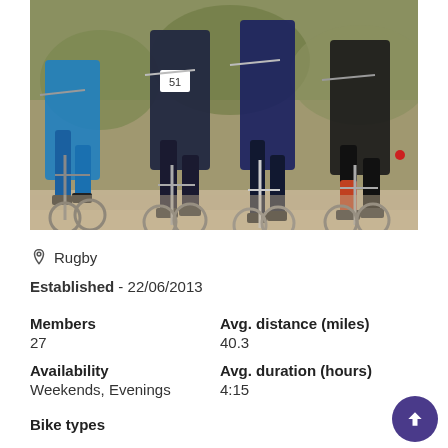[Figure (photo): Group of mountain bike cyclists riding together, shot from behind at low angle showing legs, bikes, and autumn/outdoor background]
📍 Rugby
Established - 22/06/2013
Members
27
Avg. distance (miles)
40.3
Availability
Weekends, Evenings
Avg. duration (hours)
4:15
Bike types